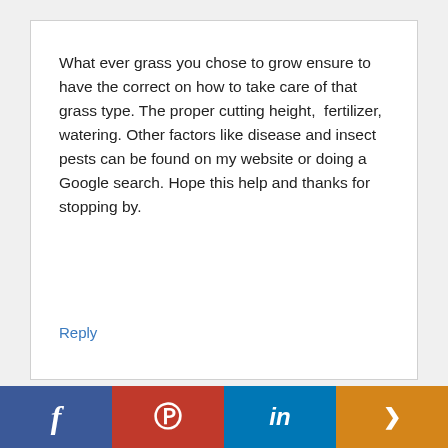What ever grass you chose to grow ensure to have the correct on how to take care of that grass type. The proper cutting height,  fertilizer, watering. Other factors like disease and insect pests can be found on my website or doing a Google search. Hope this help and thanks for stopping by.
Reply